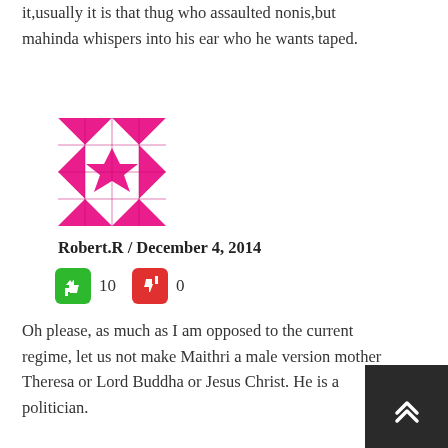it,usually it is that thug who assaulted nonis,but mahinda whispers into his ear who he wants taped.
[Figure (photo): User avatar — pink and white geometric pattern square image]
Robert.R / December 4, 2014
👍 10  👎 0
Oh please, as much as I am opposed to the current regime, let us not make Maithri a male version mother Theresa or Lord Buddha or Jesus Christ. He is a politician.